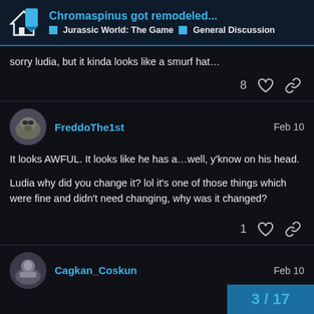Chromaspinus got remodeled... | Jurassic World: The Game | General Discussion
sorry ludia, but it kinda looks like a smurf hat…
8 ♡ 🔗
FreddoThe1st — Feb 10
It looks AWFUL. It looks like he has a…well, y'know on his head.

Ludia why did you change it? lol it's one of those things which were fine and didn't need changing, why was it changed?
1 ♡ 🔗
Cagkan_Coskun — Feb 10
3 / 17